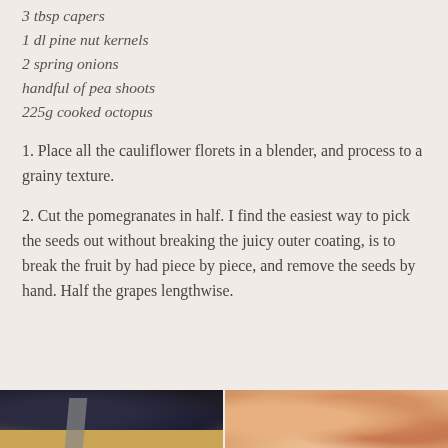3 tbsp capers
1 dl pine nut kernels
2 spring onions
handful of pea shoots
225g cooked octopus
1. Place all the cauliflower florets in a blender, and process to a grainy texture.
2. Cut the pomegranates in half. I find the easiest way to pick the seeds out without breaking the juicy outer coating, is to break the fruit by had piece by piece, and remove the seeds by hand. Half the grapes lengthwise.
[Figure (photo): Two food preparation photos side by side: left shows dark background with cutting board and knife, right shows close-up of pomegranate seeds or similar fruit]